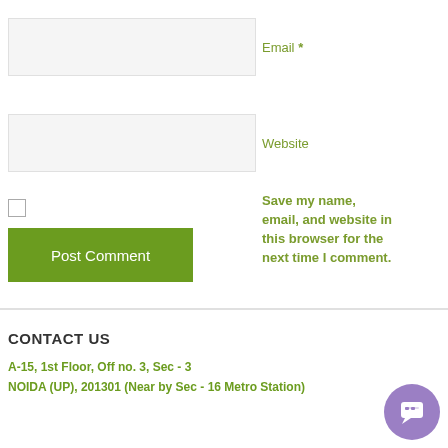Email *
Website
Save my name, email, and website in this browser for the next time I comment.
Post Comment
CONTACT US
A-15, 1st Floor, Off no. 3, Sec - 3
NOIDA (UP), 201301 (Near by Sec - 16 Metro Station)